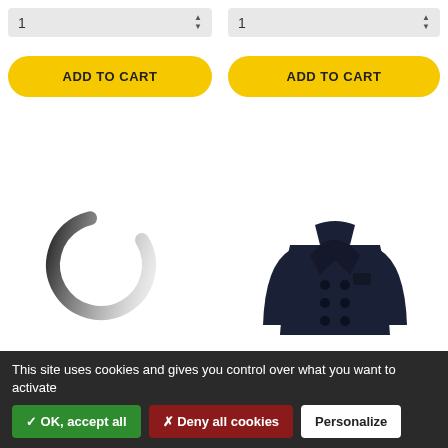[Figure (screenshot): Two quantity selector inputs side by side, each showing '1' with up/down spinner arrows, styled as grey rounded boxes]
[Figure (screenshot): Two yellow 'ADD TO CART' buttons side by side with rounded pill shape]
[Figure (illustration): Loading spinner icon — circular arc fading from black to light grey, indicating loading state]
[Figure (photo): Dark navy blue double-breasted wool peacoat jacket displayed on a white background]
This site uses cookies and gives you control over what you want to activate
✓ OK, accept all
✗ Deny all cookies
Personalize